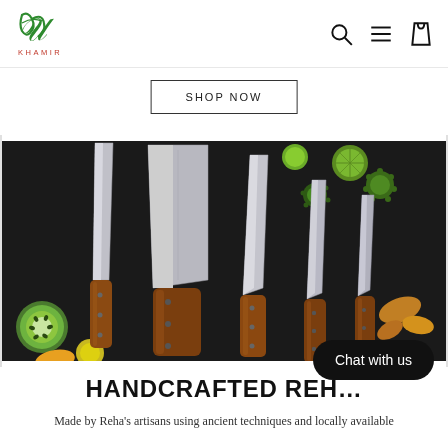[Figure (logo): Khamir brand logo — green stylized leaf/script letters above the text KHAMIR in small caps]
SHOP NOW
[Figure (photo): Five handcrafted knives with wooden handles arranged on a dark background surrounded by sliced fruits and vegetables including kiwi, lime, and turmeric]
HANDCRAFTED REHA
Made by Reha's artisans using ancient techniques and locally available